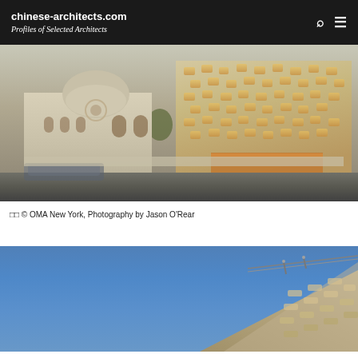chinese-architects.com Profiles of Selected Architects
[Figure (photo): Street-level exterior photograph of two buildings side by side: on the left, a classical domed religious building with arched windows and palm trees; on the right, a modern angular building with a distinctive perforated stone facade featuring a geometric honeycomb/lattice pattern with warm interior lighting visible through the openings, and a glass-enclosed lower level. A car is blurred in motion in the foreground street.]
© OMA New York, Photography by Jason O'Rear
[Figure (photo): Looking up at the angular facade of a modern building against a clear blue sky. The building has a dramatic slanted geometric stone or concrete exterior with a perforated lattice pattern, and metal railings are visible along a roofline edge.]